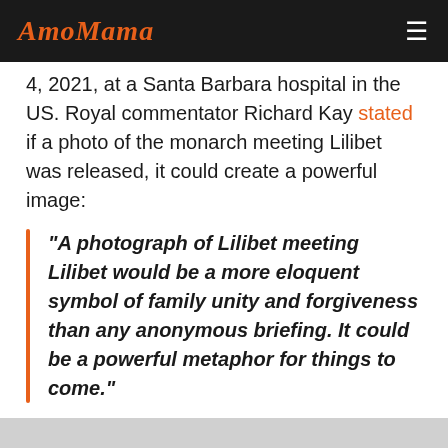AmoMama
4, 2021, at a Santa Barbara hospital in the US. Royal commentator Richard Kay stated if a photo of the monarch meeting Lilibet was released, it could create a powerful image:
"A photograph of Lilibet meeting Lilibet would be a more eloquent symbol of family unity and forgiveness than any anonymous briefing. It could be a powerful metaphor for things to come."
Kay also claimed that Markle and Prince Harry's daughter Lilibet whom they named after her great-grandmother, and their son Archie "could hold a route back to the way it was," speaking about the Sussexes'